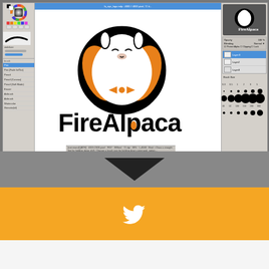[Figure (screenshot): FireAlpaca digital painting software interface showing the app window with toolbar panels on left and right, and the FireAlpaca logo (alpaca in circle with fire, wearing bow tie) in the center canvas area]
[Figure (illustration): Dark downward-pointing chevron/arrow on grey background, transitioning to the orange section below]
[Figure (illustration): Twitter bird icon (white) on orange background]
Tweets from @firealpaca_en
Follow